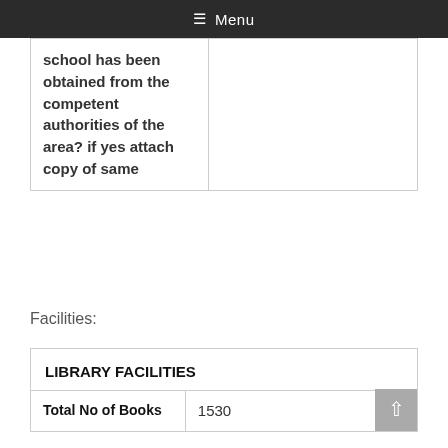Menu
|  |  |
| --- | --- |
| school has been obtained from the competent authorities of the area? if yes attach copy of same |  |
Facilities:
| LIBRARY FACILITIES |  |
| --- | --- |
| Total No of Books | 1530 |